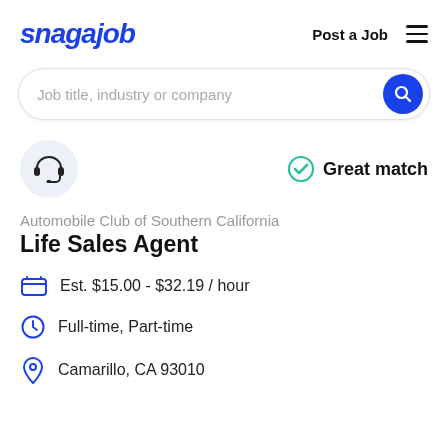snagajob | Post a Job
[Figure (screenshot): Search bar with placeholder text 'Job title, industry or company' and a blue circular search button]
[Figure (illustration): Headset icon in a light blue/grey circle on the left; teal circled checkmark with 'Great match' text on the right]
Automobile Club of Southern California
Life Sales Agent
Est. $15.00 - $32.19 / hour
Full-time, Part-time
Camarillo, CA 93010